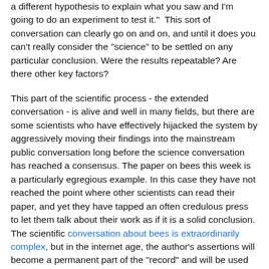a different hypothesis to explain what you saw and I'm going to do an experiment to test it."  This sort of conversation can clearly go on and on, and until it does you can't really consider the "science" to be settled on any particular conclusion. Were the results repeatable? Are there other key factors?
This part of the scientific process - the extended conversation - is alive and well in many fields, but there are some scientists who have effectively hijacked the system by aggressively moving their findings into the mainstream public conversation long before the science conversation has reached a consensus. The paper on bees this week is a particularly egregious example. In this case they have not reached the point where other scientists can read their paper, and yet they have tapped an often credulous press to let them talk about their work as if it is a solid conclusion. The scientific conversation about bees is extraordinarily complex, but in the internet age, the author's assertions will become a permanent part of the "record" and will be used to support various agendas no matter what their data actually does or does not show.